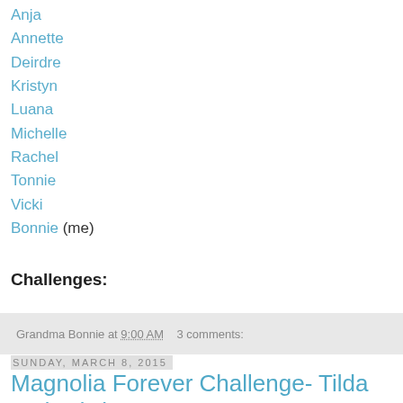Anja
Annette
Deirdre
Kristyn
Luana
Michelle
Rachel
Tonnie
Vicki
Bonnie (me)
Challenges:
Grandma Bonnie at 9:00 AM    3 comments:
Sunday, March 8, 2015
Magnolia Forever Challenge- Tilda and Edwin's Parrot